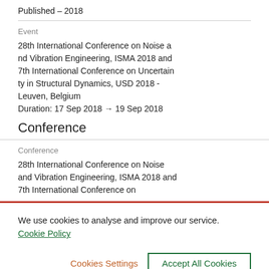Published – 2018
Event
28th International Conference on Noise and Vibration Engineering, ISMA 2018 and 7th International Conference on Uncertainty in Structural Dynamics, USD 2018 - Leuven, Belgium
Duration: 17 Sep 2018 → 19 Sep 2018
Conference
Conference
28th International Conference on Noise and Vibration Engineering, ISMA 2018 and 7th International Conference on
We use cookies to analyse and improve our service. Cookie Policy
Cookies Settings
Accept All Cookies